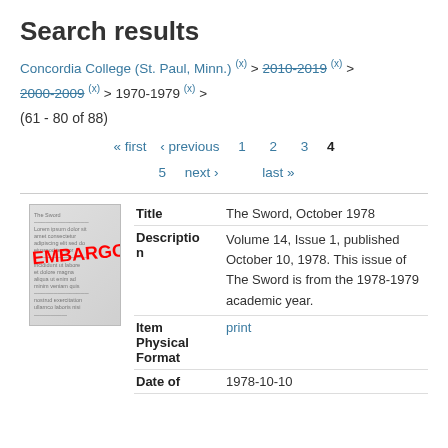Search results
Concordia College (St. Paul, Minn.) (x) > 2010-2019 (x) > 2000-2009 (x) > 1970-1979 (x) >
(61 - 80 of 88)
« first  ‹ previous  1  2  3  4  5  next ›  last »
|  | Title | Value |
| --- | --- | --- |
|  | Title | The Sword, October 1978 |
|  | Description | Volume 14, Issue 1, published October 10, 1978. This issue of The Sword is from the 1978-1979 academic year. |
|  | Item Physical Format | print |
|  | Date of | 1978-10-10 |